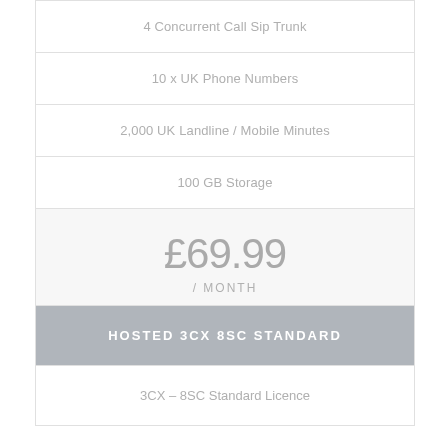4 Concurrent Call Sip Trunk
10 x UK Phone Numbers
2,000 UK Landline / Mobile Minutes
100 GB Storage
£69.99 / MONTH
HOSTED 3CX 8SC STANDARD
3CX – 8SC Standard Licence